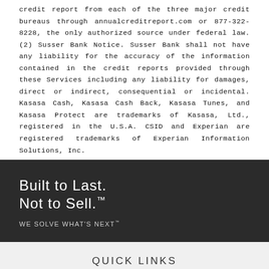credit report from each of the three major credit bureaus through annualcreditreport.com or 877-322-8228, the only authorized source under federal law. (2) Susser Bank Notice. Susser Bank shall not have any liability for the accuracy of the information contained in the credit reports provided through these Services including any liability for damages, direct or indirect, consequential or incidental. Kasasa Cash, Kasasa Cash Back, Kasasa Tunes, and Kasasa Protect are trademarks of Kasasa, Ltd., registered in the U.S.A. CSID and Experian are registered trademarks of Experian Information Solutions, Inc.
Built to Last. Not to Sell.™
WE SOLVE WHAT'S NEXT™
QUICK LINKS
Locations & Hours
Wiring Instructions
Lobby/Drive-Thru Hours
Lost/Stolen Debit Card